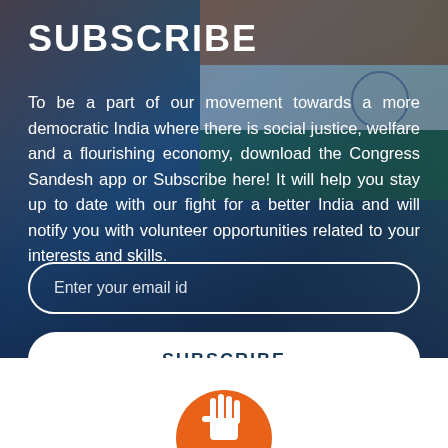SUBSCRIBE
To be a part of our movement towards a more democratic India where there is social justice, welfare and a flourishing economy, download the Congress Sandesh app or Subscribe here! It will help you stay up to date with our fight for a better India and will notify you with volunteer opportunities related to your interests and skills.
Enter your email id
SUBSCRIBE
[Figure (logo): Indian National Congress hand logo - partial orange circle with white hand symbol visible at bottom of page]